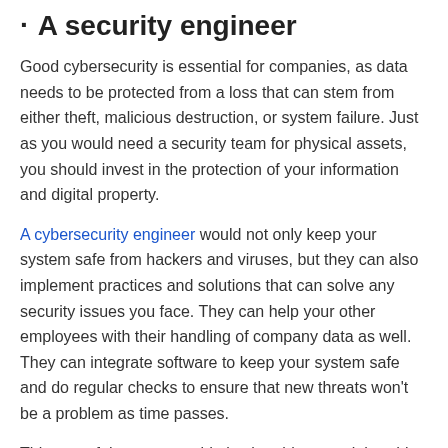A security engineer
Good cybersecurity is essential for companies, as data needs to be protected from a loss that can stem from either theft, malicious destruction, or system failure. Just as you would need a security team for physical assets, you should invest in the protection of your information and digital property.
A cybersecurity engineer would not only keep your system safe from hackers and viruses, but they can also implement practices and solutions that can solve any security issues you face. They can help your other employees with their handling of company data as well. They can integrate software to keep your system safe and do regular checks to ensure that new threats won't be a problem as time passes.
This part of the team would also be able to work hand-in-hand with your admins to ensure that all data is backed up. They